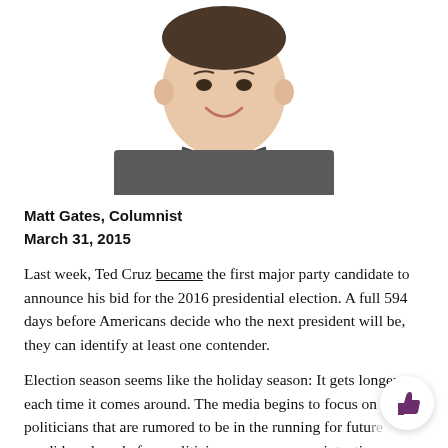[Figure (photo): Headshot of a young smiling man wearing a dark gray crew-neck sweatshirt, photographed from roughly the chest up against a white background.]
Matt Gates, Columnist
March 31, 2015
Last week, Ted Cruz became the first major party candidate to announce his bid for the 2016 presidential election. A full 594 days before Americans decide who the next president will be, they can identify at least one contender.
Election season seems like the holiday season: It gets longer each time it comes around. The media begins to focus on politicians that are rumored to be in the running for future candidacy long before politicians announce any intention.